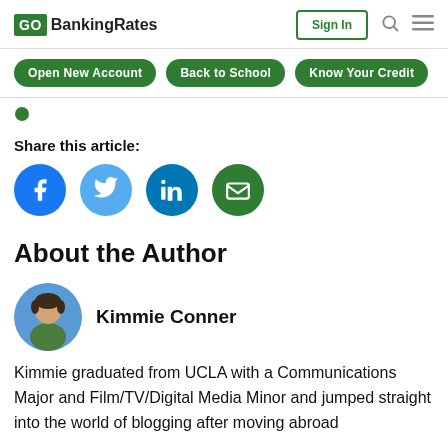GOBankingRates — Sign In
Open New Account
Back to School
Know Your Credit
[Figure (other): Green bullet/dot breadcrumb indicator]
Share this article:
[Figure (other): Social share icons: Facebook (blue circle), Twitter (light blue circle), LinkedIn (teal circle), Email (green circle)]
About the Author
[Figure (photo): Circular author photo of Kimmie Conner showing a person at an outdoor archaeological site]
Kimmie Conner
Kimmie graduated from UCLA with a Communications Major and Film/TV/Digital Media Minor and jumped straight into the world of blogging after moving abroad